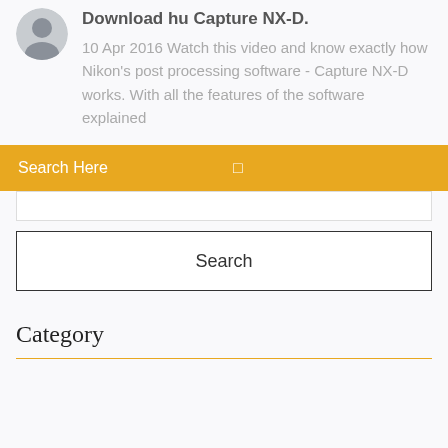Download hu Capture NX-D.
10 Apr 2016 Watch this video and know exactly how Nikon's post processing software - Capture NX-D works. With all the features of the software explained
Search Here
Search
Category